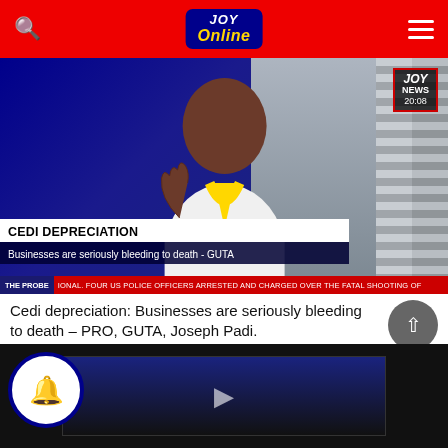JOY Online (logo) — navigation header with search icon and hamburger menu
[Figure (screenshot): TV news screenshot showing a man in white and yellow traditional attire being interviewed. Lower third reads: CEDI DEPRECIATION / Businesses are seriously bleeding to death - GUTA. Ticker bar: THE PROBE...IONAL. FOUR US POLICE OFFICERS ARRESTED AND CHARGED OVER THE FATAL SHOOTING OF. Joy News bug shows 20:08.]
Cedi depreciation: Businesses are seriously bleeding to death – PRO, GUTA, Joseph Padi.
[Figure (screenshot): Partial thumbnail of a second video at the bottom of the page showing a dark news studio background.]